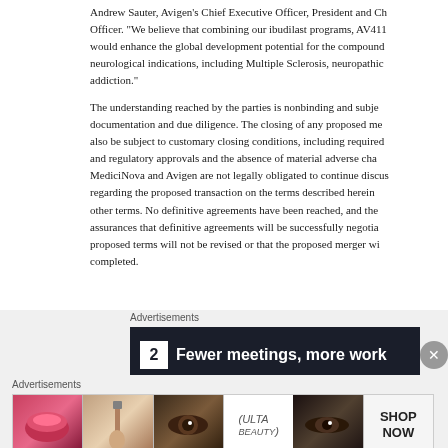Andrew Sauter, Avigen's Chief Executive Officer, President and Chief Financial Officer. "We believe that combining our ibudilast programs, AV411 and MN-166, would enhance the global development potential for the compound across multiple neurological indications, including Multiple Sclerosis, neuropathic pain, and addiction."
The understanding reached by the parties is nonbinding and subject to definitive documentation and due diligence. The closing of any proposed merger transaction would also be subject to customary closing conditions, including required stockholder approvals and regulatory approvals and the absence of material adverse changes. Each of MediciNova and Avigen are not legally obligated to continue discussions with the other party regarding the proposed transaction on the terms described herein or at all, or on any other terms. No definitive agreements have been reached, and there can be no assurances that definitive agreements will be successfully negotiated, that the proposed terms will not be revised or that the proposed merger will be successfully completed.
Advertisements
[Figure (screenshot): Dark advertisement banner with a white square icon containing the number 2, followed by bold white text 'Fewer meetings, more work' on a dark navy/black background, with a circular close button on the right.]
Advertisements
[Figure (screenshot): Advertisement strip showing beauty/makeup related images: lips with red lipstick, a makeup brush, eye with makeup, Ulta Beauty logo, eyes with dramatic makeup, and a 'SHOP NOW' call to action button.]